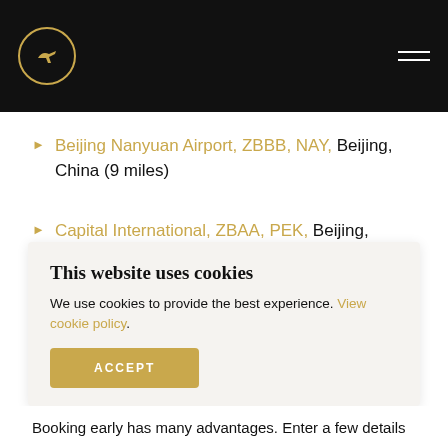Logo and navigation header
Beijing Nanyuan Airport, ZBBB, NAY, Beijing, China (9 miles)
Capital International, ZBAA, PEK, Beijing, China (16 miles)
Binhai, ZBTJ, TSN, Tianjin, China (73 miles)
This website uses cookies
We use cookies to provide the best experience. View cookie policy.
ACCEPT
Booking early has many advantages. Enter a few details